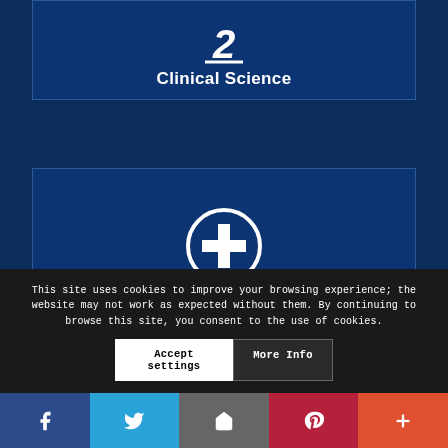[Figure (infographic): Dark blue card with number 2 icon and 'Clinical Science' label]
Clinical Science
[Figure (infographic): Dark blue card with medical plus circle icon and 'Health Economics & Patient Value' label]
Health Economics & Patient Value
This site uses cookies to improve your browsing experience; the website may not work as expected without them. By continuing to browse this site, you consent to the use of cookies.
Accept settings | More Info | Social share bar (Facebook, Twitter, Email, Pinterest, More)